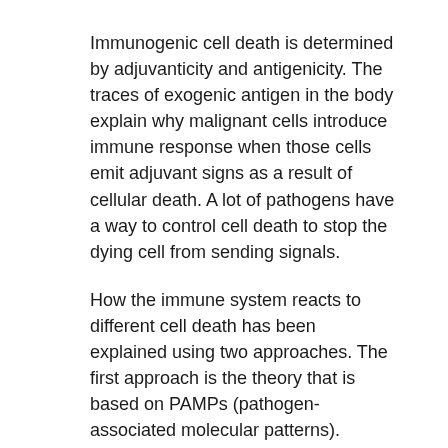Immunogenic cell death is determined by adjuvanticity and antigenicity. The traces of exogenic antigen in the body explain why malignant cells introduce immune response when those cells emit adjuvant signs as a result of cellular death. A lot of pathogens have a way to control cell death to stop the dying cell from sending signals.
How the immune system reacts to different cell death has been explained using two approaches. The first approach is the theory that is based on PAMPs (pathogen-associated molecular patterns).
Example of such pattern is the viral ribonucleic acid (RNA) or the component of the bacterial cell wall by the immune cell which distinguish between the cell death that occurs without a pathogen — silent cell death and the cell death which occurs in the presence of a pathogen i.e. the immunogenic cell death.
PAMPs are not the only determinant of immunogenicity and the reason being that the unaffected cell always